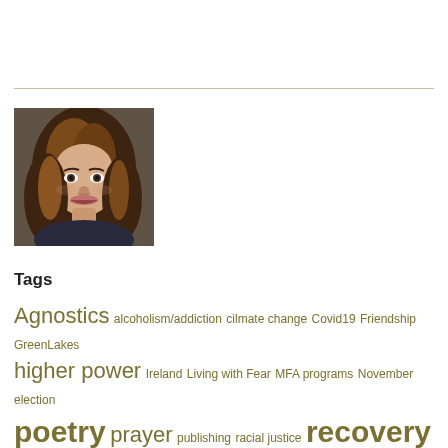[Figure (photo): Portrait photo of a woman with brown/auburn highlighted hair, smiling, wearing a dark top, indoor background]
Tags
Agnostics alcoholism/addiction cilmate change Covid19 Friendship GreenLakes higher power Ireland Living with Fear MFA programs November election poetry prayer publishing racial justice recovery shame spiritual awakening spiritual experience spirituality Walking writing